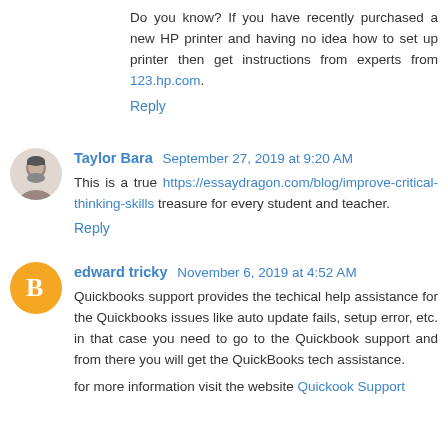Do you know? If you have recently purchased a new HP printer and having no idea how to set up printer then get instructions from experts from 123.hp.com.
Reply
Taylor Bara  September 27, 2019 at 9:20 AM
This is a true https://essaydragon.com/blog/improve-critical-thinking-skills treasure for every student and teacher.
Reply
edward tricky  November 6, 2019 at 4:52 AM
Quickbooks support provides the techical help assistance for the Quickbooks issues like auto update fails, setup error, etc. in that case you need to go to the Quickbook support and from there you will get the QuickBooks tech assistance.
for more information visit the website Quickook Support